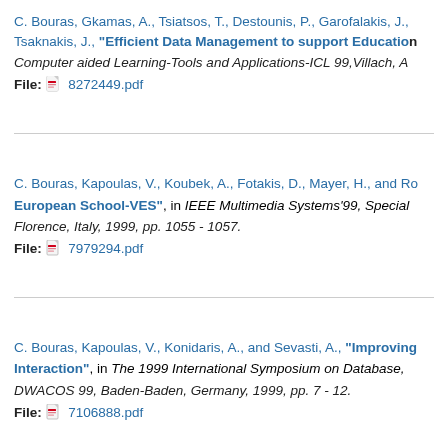C. Bouras, Gkamas, A., Tsiatsos, T., Destounis, P., Garofalakis, J., Tsaknakis, J., "Efficient Data Management to support Education...", Computer aided Learning-Tools and Applications-ICL 99, Villach, A... File: 8272449.pdf
C. Bouras, Kapoulas, V., Koubek, A., Fotakis, D., Mayer, H., and Ro... "European School-VES", in IEEE Multimedia Systems'99, Special... Florence, Italy, 1999, pp. 1055 - 1057. File: 7979294.pdf
C. Bouras, Kapoulas, V., Konidaris, A., and Sevasti, A., "Improving... Interaction", in The 1999 International Symposium on Database,... DWACOS 99, Baden-Baden, Germany, 1999, pp. 7 - 12. File: 7106888.pdf